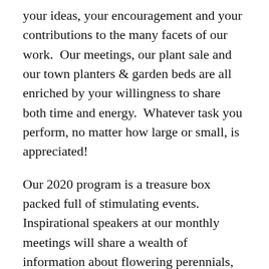your ideas, your encouragement and your contributions to the many facets of our work.  Our meetings, our plant sale and our town planters & garden beds are all enriched by your willingness to share both time and energy.  Whatever task you perform, no matter how large or small, is appreciated!
Our 2020 program is a treasure box packed full of stimulating events.  Inspirational speakers at our monthly meetings will share a wealth of information about flowering perennials, creatures who visit our gardens, spring garden planning, vegetable growing, food harvest from the wild, and so much more.  There is something of interest to all!  The diversity of activities planned provides opportunities for everyone to participate in ways that are personally gratifying as well as supportive of our community.  You can contribute plants to the plant sale on the long week end in May; you can submit entries to the